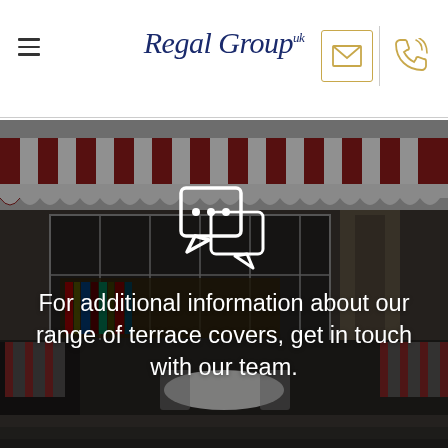Regal Group uk
[Figure (photo): Restaurant or cafe terrace exterior with red and white striped awnings, large windows, outdoor dining chairs and tables with white tablecloths, stone steps in foreground. Chat/conversation bubble icon overlay with ellipsis. Dark overlay on image.]
For additional information about our range of terrace covers, get in touch with our team.